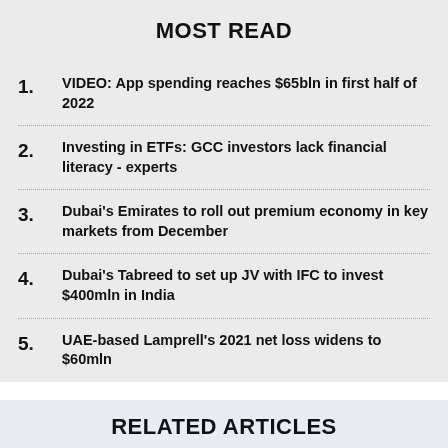MOST READ
1. VIDEO: App spending reaches $65bln in first half of 2022
2. Investing in ETFs: GCC investors lack financial literacy - experts
3. Dubai's Emirates to roll out premium economy in key markets from December
4. Dubai's Tabreed to set up JV with IFC to invest $400mln in India
5. UAE-based Lamprell's 2021 net loss widens to $60mln
RELATED ARTICLES